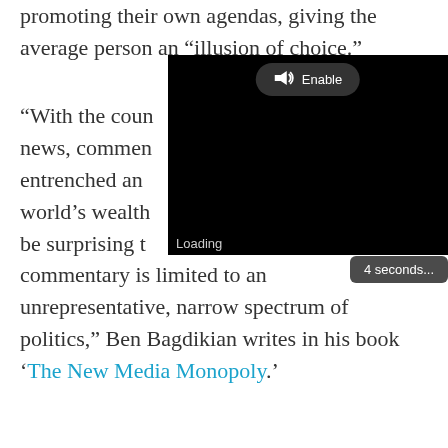promoting their own agendas, giving the average person an “illusion of choice.”
[Figure (screenshot): Embedded video player (black) with 'Enable' audio button and 'Loading' / '4 seconds...' overlay]
“With the country’s news, commentary entrenched and world’s wealth be surprising that commentary is limited to an unrepresentative, narrow spectrum of politics,” Ben Bagdikian writes in his book ‘The New Media Monopoly.’